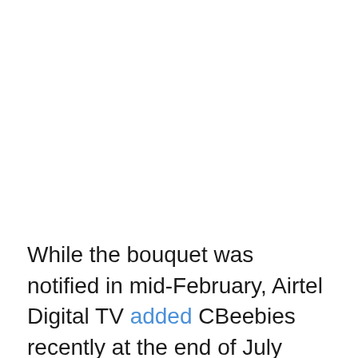While the bouquet was notified in mid-February, Airtel Digital TV added CBeebies recently at the end of July 2020. The bouquet has made a swift entry on Airtel within a fortnight of CBeebies addition while other distribution platforms that carry both CBeebies and BBC World News since